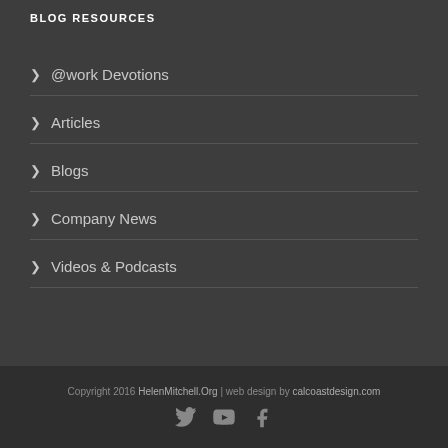BLOG RESOURCES
@work Devotions
Articles
Blogs
Company News
Videos & Podcasts
Copyright 2016 HelenMitchell.Org | web design by calcoastdesign.com